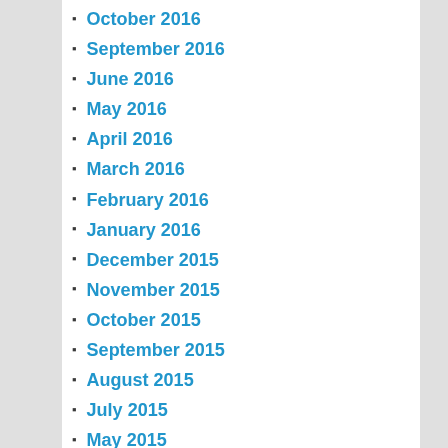October 2016
September 2016
June 2016
May 2016
April 2016
March 2016
February 2016
January 2016
December 2015
November 2015
October 2015
September 2015
August 2015
July 2015
May 2015
April 2015
March 2015
February 2015
January 2015
December 2014
November 2014